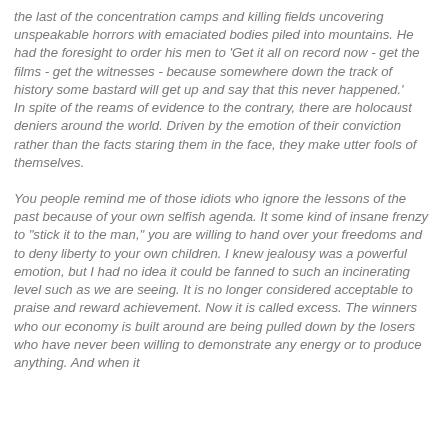the last of the concentration camps and killing fields uncovering unspeakable horrors with emaciated bodies piled into mountains. He had the foresight to order his men to 'Get it all on record now - get the films - get the witnesses - because somewhere down the track of history some bastard will get up and say that this never happened.' In spite of the reams of evidence to the contrary, there are holocaust deniers around the world. Driven by the emotion of their conviction rather than the facts staring them in the face, they make utter fools of themselves.
You people remind me of those idiots who ignore the lessons of the past because of your own selfish agenda. It some kind of insane frenzy to "stick it to the man," you are willing to hand over your freedoms and to deny liberty to your own children. I knew jealousy was a powerful emotion, but I had no idea it could be fanned to such an incinerating level such as we are seeing. It is no longer considered acceptable to praise and reward achievement. Now it is called excess. The winners who our economy is built around are being pulled down by the losers who have never been willing to demonstrate any energy or to produce anything. And when it